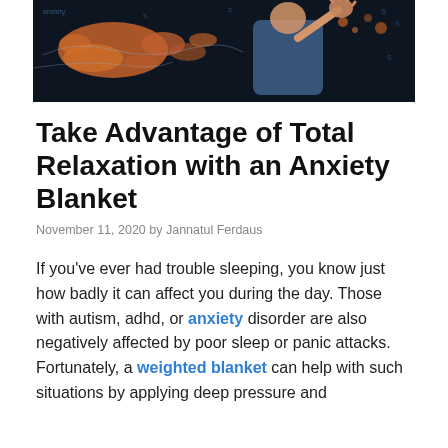[Figure (photo): A man in a blue shirt with hand raised against a dark background overlaid with glowing orange world map graphics and text]
Take Advantage of Total Relaxation with an Anxiety Blanket
November 11, 2020 by Jannatul Ferdaus
If you've ever had trouble sleeping, you know just how badly it can affect you during the day. Those with autism, adhd, or anxiety disorder are also negatively affected by poor sleep or panic attacks. Fortunately, a weighted blanket can help with such situations by applying deep pressure and